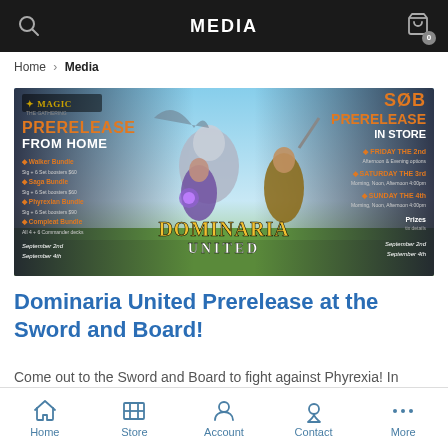MEDIA
Home > Media
[Figure (illustration): Magic: The Gathering Dominaria United Prerelease banner showing characters from the game, with text about Prerelease From Home bundles on the left and SOB Prerelease In Store dates (Friday the 2nd, Saturday the 3rd, Sunday the 4th) on the right. September 2nd and September 4th dates listed.]
Dominaria United Prerelease at the Sword and Board!
Come out to the Sword and Board to fight against Phyrexia! In
Home  Store  Account  Contact  More